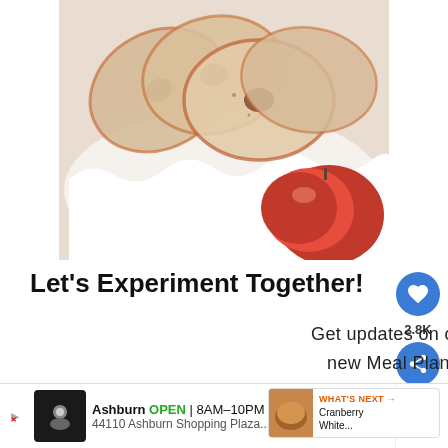[Figure (photo): Close-up photo of dried apple chips in a white ceramic ruffled bowl, with fresh red apples visible in the foreground]
Let's Experiment Together!
Get updates on our latest recipes, plus a new Meal Plan each week straight to your inbox. Sign up today and re FREE copy of our Delicious Fall Apple
[Figure (infographic): Social sidebar with heart button showing 2.8K likes and a share button]
[Figure (infographic): What's Next overlay showing Cranberry White... recipe thumbnail]
[Figure (infographic): Advertisement bar: Ashburn OPEN 8AM-10PM, 44110 Ashburn Shopping Plaza...]